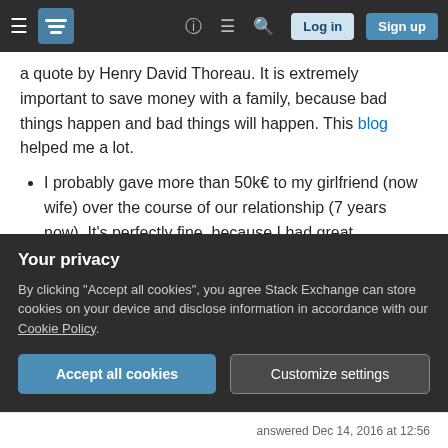Stack Exchange navigation bar with hamburger menu, logo, help, chat, search icons, Log in and Sign up buttons
a quote by Henry David Thoreau. It is extremely important to save money with a family, because bad things happen and bad things will happen. This blog helped me a lot.
I probably gave more than 50k€ to my girlfriend (now wife) over the course of our relationship (7 years now). It's perfectly fine, because I had great experiences/trips with her, we have a wonderful daughter and I still have 2 free evenings per week. Those are far more important to me than more money on my
Your privacy
By clicking "Accept all cookies", you agree Stack Exchange can store cookies on your device and disclose information in accordance with our Cookie Policy.
Accept all cookies   Customize settings
answered Dec 14, 2016 at 12:56